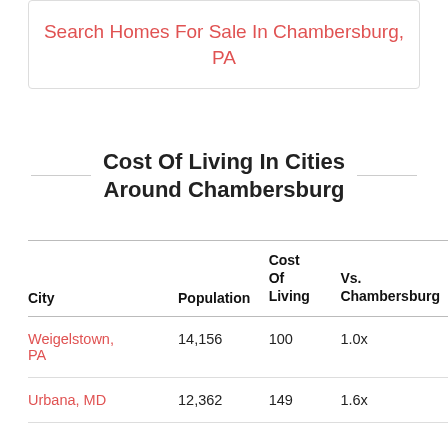Search Homes For Sale In Chambersburg, PA
Cost Of Living In Cities Around Chambersburg
| City | Population | Cost Of Living | Vs. Chambersburg |
| --- | --- | --- | --- |
| Weigelstown, PA | 14,156 | 100 | 1.0x |
| Urbana, MD | 12,362 | 149 | 1.6x |